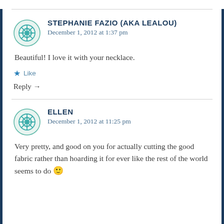STEPHANIE FAZIO (AKA LEALOU)
December 1, 2012 at 1:37 pm
Beautiful! I love it with your necklace.
★ Like
Reply →
ELLEN
December 1, 2012 at 11:25 pm
Very pretty, and good on you for actually cutting the good fabric rather than hoarding it for ever like the rest of the world seems to do 🙂